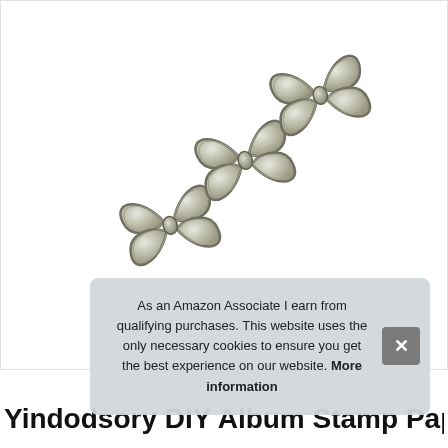[Figure (photo): Silver/metallic butterfly-shaped paper clips linked together in a chain, photographed on a white background. Three butterfly clip shapes are visible, connected in a diagonal arrangement.]
As an Amazon Associate I earn from qualifying purchases. This website uses the only necessary cookies to ensure you get the best experience on our website. More information
Yindodsory DIY Album Stamp Paper